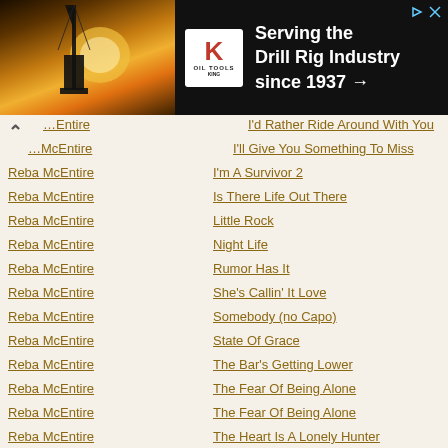[Figure (other): Advertisement banner for King Oil Tools: 'Serving the Drill Rig Industry since 1937 →' with a drill rig silhouette at sunset and King Oil Tools logo]
Reba McEntire — I'd Rather Ride Around With You
Reba McEntire — I'll Give You Something To Miss
Reba McEntire — I'm A Survivor 2
Reba McEntire — Is There Life Out There
Reba McEntire — Little Rock
Reba McEntire — Night Life
Reba McEntire — Rumor Has It
Reba McEntire — She's Callin' It Love
Reba McEntire — Somebody (no Capo)
Reba McEntire — State Of Grace
Reba McEntire — The Bar's Getting Lower
Reba McEntire — The Fear Of Being Alone
Reba McEntire — The Fear Of Being Alone
Reba McEntire — The Heart Is A Lonely Hunter
Reba McEntire — The Last One To Know
Reba McEntire — Turn On The Radio
Reba McEntire — Walk On
Reba McEntire — We're So Good Together
Reba McEntire — What If
Reba McEntire — What If It's You (no Capo)
Reba McEntire — Whoever's In New England
Restless Heart — (Back To The) Heartbreak Kid